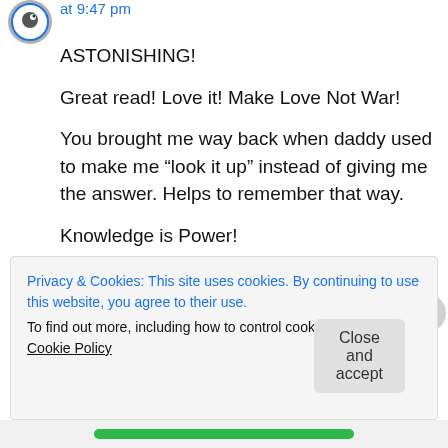at 9:47 pm
ASTONISHING!

Great read! Love it! Make Love Not War!

You brought me way back when daddy used to make me “look it up” instead of giving me the answer. Helps to remember that way.

Knowledge is Power!

Peace Out! 👑
Privacy & Cookies: This site uses cookies. By continuing to use this website, you agree to their use.
To find out more, including how to control cookies, see here: Cookie Policy
Close and accept